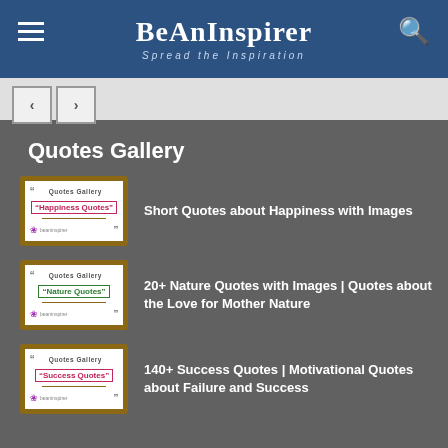BeAnInspirer — Spread the Inspiration
Quotes Gallery
[Figure (screenshot): Thumbnail image for Happiness Quotes Gallery post]
Short Quotes about Happiness with Images
[Figure (screenshot): Thumbnail image for Nature Quotes Gallery post]
20+ Nature Quotes with Images | Quotes about the Love for Mother Nature
[Figure (screenshot): Thumbnail image for Success Quotes Gallery post]
140+ Success Quotes | Motivational Quotes about Failure and Success